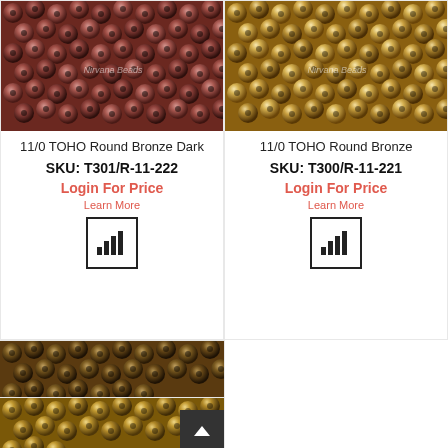[Figure (photo): Close-up photo of dark bronze/copper metallic round seed beads (TOHO 11/0) with Nirvana Beads watermark]
11/0 TOHO Round Bronze Dark
SKU: T301/R-11-222
Login For Price
Learn More
[Figure (infographic): Bar chart icon in a square border]
[Figure (photo): Close-up photo of gold/light bronze metallic round seed beads (TOHO 11/0) with Nirvana Beads watermark]
11/0 TOHO Round Bronze
SKU: T300/R-11-221
Login For Price
Learn More
[Figure (infographic): Bar chart icon in a square border]
[Figure (photo): Partial view of brownish metallic round seed beads at bottom left]
[Figure (photo): Partial view of gold metallic round seed beads at bottom right]